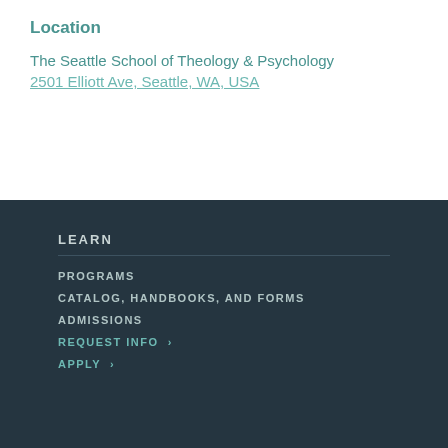Location
The Seattle School of Theology & Psychology
2501 Elliott Ave, Seattle, WA, USA
LEARN
PROGRAMS
CATALOG, HANDBOOKS, AND FORMS
ADMISSIONS
REQUEST INFO  >
APPLY  >